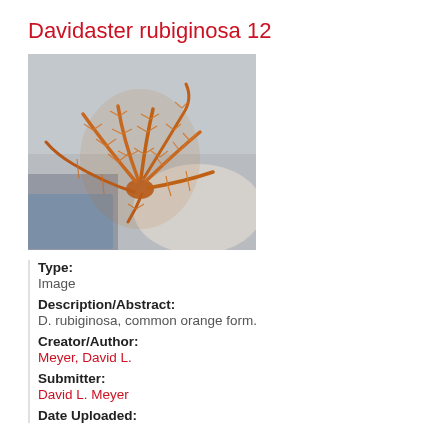Davidaster rubiginosa 12
[Figure (photo): Photograph of Davidaster rubiginosa (common orange form) — a feather star/crinoid with orange, feathery arms spread out against a blurred rocky/sandy background.]
Type:
Image
Description/Abstract:
D. rubiginosa, common orange form.
Creator/Author:
Meyer, David L.
Submitter:
David L. Meyer
Date Uploaded: